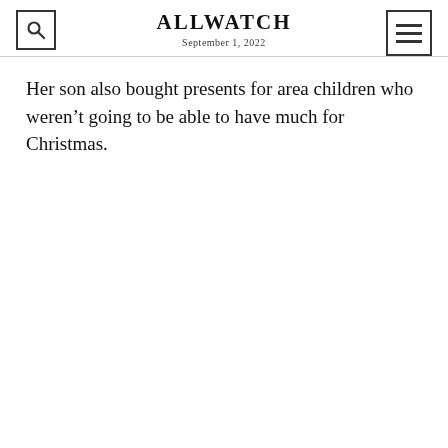ALLWATCH
September 1, 2022
Her son also bought presents for area children who weren't going to be able to have much for Christmas.